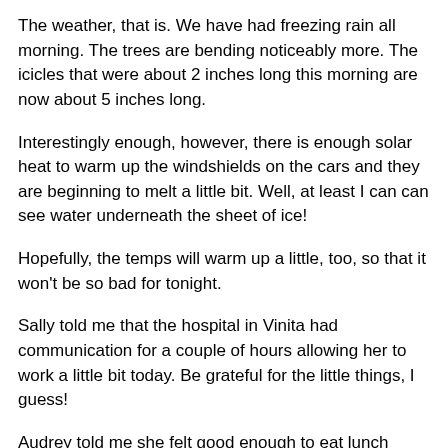The weather, that is. We have had freezing rain all morning. The trees are bending noticeably more. The icicles that were about 2 inches long this morning are now about 5 inches long.
Interestingly enough, however, there is enough solar heat to warm up the windshields on the cars and they are beginning to melt a little bit. Well, at least I can can see water underneath the sheet of ice!
Hopefully, the temps will warm up a little, too, so that it won't be so bad for tonight.
Sally told me that the hospital in Vinita had communication for a couple of hours allowing her to work a little bit today. Be grateful for the little things, I guess!
Audrey told me she felt good enough to eat lunch today. I think I'll pop down to Sonic and bring her back a nice hot burger. Sounds good to me, too!